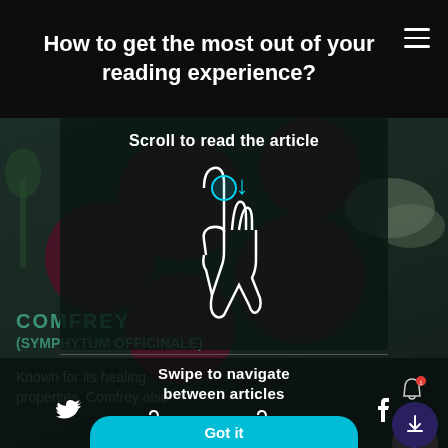How to get the most out of your reading experience?
[Figure (screenshot): Scroll to read the article instruction with hand/finger gesture icon and cyan downward arrow on dark background with blurred article content]
[Figure (screenshot): Swipe to navigate between articles instruction with two hand gesture icons and cyan left/right arrows, overlaid on article page showing COMFREY (SYMPHYTUM OFFICINALE) text]
Scroll to read the article
Swipe to navigate between articles
COMFREY
(SYMPHYTUM OFFICINALE)
Known for its healing properties, Comfrey also